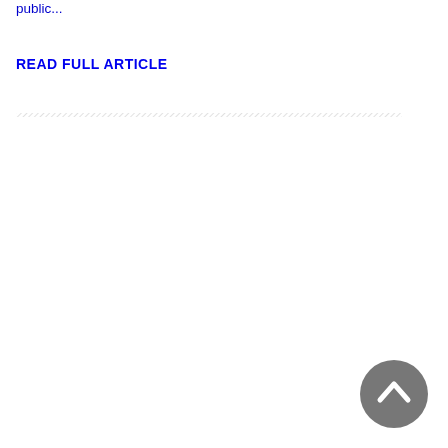public...
READ FULL ARTICLE
[Figure (other): Horizontal divider line with hatched/diagonal pattern]
[Figure (other): Gray circular back-to-top button with upward chevron arrow icon]